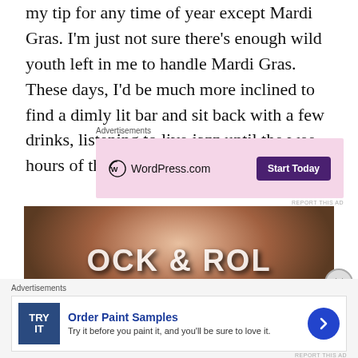my tip for any time of year except Mardi Gras. I'm just not sure there's enough wild youth left in me to handle Mardi Gras. These days, I'd be much more inclined to find a dimly lit bar and sit back with a few drinks, listening to live jazz until the wee hours of the morn.
[Figure (other): WordPress.com advertisement with pink background and 'Start Today' button]
[Figure (photo): Close-up photo of a child wearing a Rock & Roll t-shirt, sitting with a bowl]
[Figure (other): Order Paint Samples advertisement with blue try-it box and arrow button]